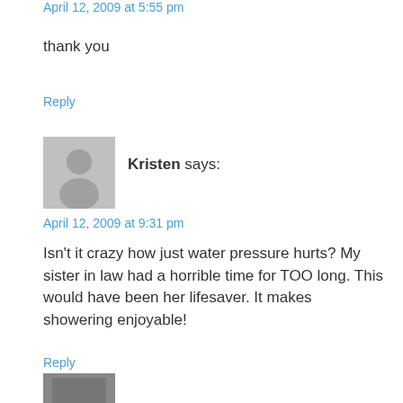April 12, 2009 at 5:55 pm
thank you
Reply
[Figure (photo): Default gray avatar silhouette for user Kristen]
Kristen says:
April 12, 2009 at 9:31 pm
Isn't it crazy how just water pressure hurts? My sister in law had a horrible time for TOO long. This would have been her lifesaver. It makes showering enjoyable!
Reply
[Figure (photo): Partial avatar image of a person at bottom of page]